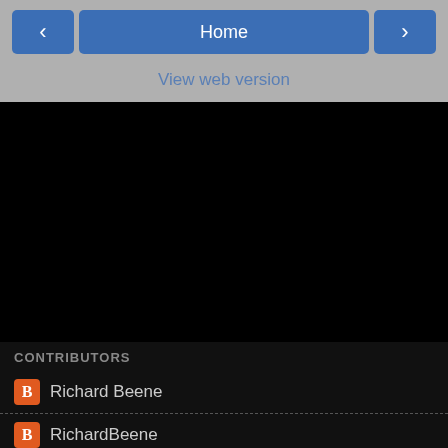Home
View web version
CONTRIBUTORS
Richard Beene
RichardBeene